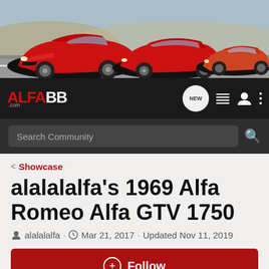[Figure (photo): Banner image of Alfa Romeo cars on a road track with mountain/desert background. Three red Alfa Romeo cars: Giulia Quadrifoglio on left, 4C Spider in center, and a classic 1960s Spider on the right.]
[Figure (logo): ALFABB.com logo in red and white on dark background, with navigation icons: NEW speech bubble, hamburger menu, person icon, dots menu]
Search Community
< Showcase
alalalalfa's 1969 Alfa Romeo Alfa GTV 1750
alalalalfa · Mar 21, 2017 · Updated Nov 11, 2019
+ Follow